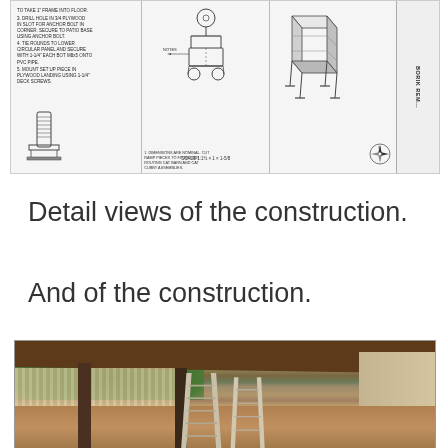[Figure (engineering-diagram): Construction blueprint/technical drawing with three panels showing detail views: left panel with installation notes and a pipe/anchor detail drawing, center panel with a mechanical component detail and notes, right panel with a structural assembly isometric view. Title bar on right reads 'BORIK REM...' with a compass rose.]
Detail views of the construction.
And of the construction.
[Figure (photo): Photograph of a backyard patio under construction. A covered patio/pergola with wood decking overhead, two aluminum stepladders in center, a wood post on left, patio pavers on ground, trees and wooden fence in background, outdoor furniture visible in background, house wall with sliding glass door on right.]